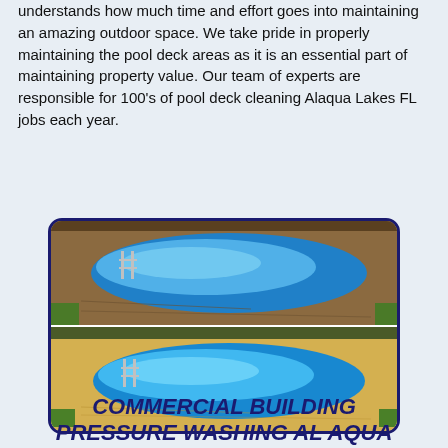understands how much time and effort goes into maintaining an amazing outdoor space. We take pride in properly maintaining the pool deck areas as it is an essential part of maintaining property value. Our team of experts are responsible for 100's of pool deck cleaning Alaqua Lakes FL jobs each year.
[Figure (photo): Before and after comparison photos of a pool deck cleaning job. Top image shows a pool with dirty brown/dark concrete deck. Bottom image shows the same pool with clean, bright yellow/tan deck after pressure washing.]
COMMERCIAL BUILDING PRESSURE WASHING AL AQUA